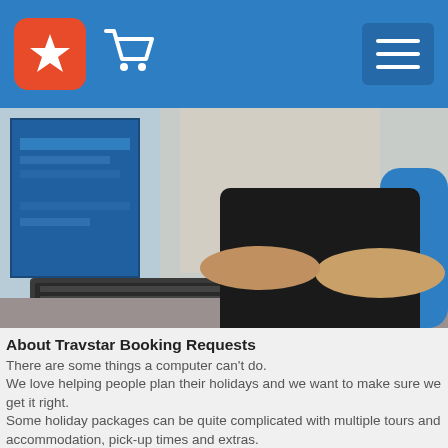Travstar — header navigation bar with logo, cart and hamburger menu
[Figure (photo): Person typing on a keyboard at a computer workstation, seen from the side, wearing a watch and black clothing.]
About Travstar Booking Requests
There are some things a computer can't do. We love helping people plan their holidays and we want to make sure we get it right. Some holiday packages can be quite complicated with multiple tours and accommodation, pick-up times and extras. That's why every booking made through a Travstar Website is checked by our local consultants. It takes a little bit longer to get your tickets but we want to make sure everything is going to run smoothly for you.
How long wil it take to get my tickets?
Our team are alerted to new booking requests as they come in. During office hours you can expect to have your tickets within an hour